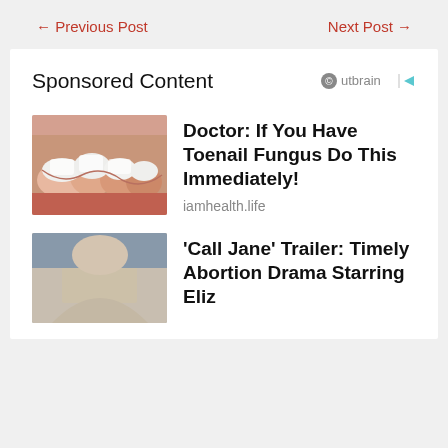← Previous Post
Next Post →
Sponsored Content
[Figure (logo): Outbrain logo with play arrow icon]
[Figure (photo): Close-up photo of toes with toenail fungus covered in cream]
Doctor: If You Have Toenail Fungus Do This Immediately!
iamhealth.life
[Figure (photo): Photo of a woman with blonde hair from behind/side]
'Call Jane' Trailer: Timely Abortion Drama Starring Elizabeth Banks, Wunmi...